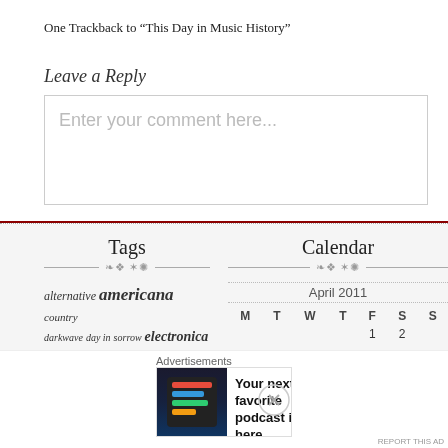One Trackback to “This Day in Music History”
Leave a Reply
Enter your comment here...
Tags
alternative americana country darkwave day in sorrow electronica emo
Calendar
| M | T | W | T | F | S | S |
| --- | --- | --- | --- | --- | --- | --- |
|  |  |  |  | 1 | 2 |  |
April 2011
Advertisements
[Figure (screenshot): Pocket Casts advertisement banner: Your next favorite podcast is here.]